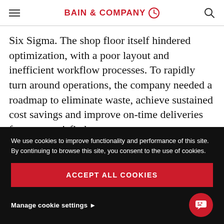BAIN & COMPANY
Six Sigma. The shop floor itself hindered optimization, with a poor layout and inefficient workflow processes. To rapidly turn around operations, the company needed a roadmap to eliminate waste, achieve sustained cost savings and improve on-time deliveries for more satisfied customers.
We use cookies to improve functionality and performance of this site. By continuing to browse this site, you consent to the use of cookies.
ACCEPT ALL COOKIES
Manage cookie settings ▶